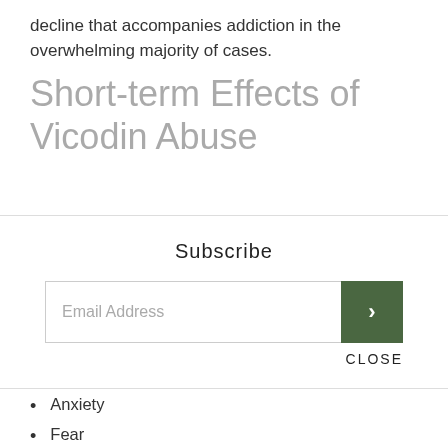decline that accompanies addiction in the overwhelming majority of cases.
Short-term Effects of Vicodin Abuse
Subscribe
Email Address
CLOSE
Anxiety
Fear
Mood changes
Psychological and physical dependence
Euphoria followed by a generalized unhappy